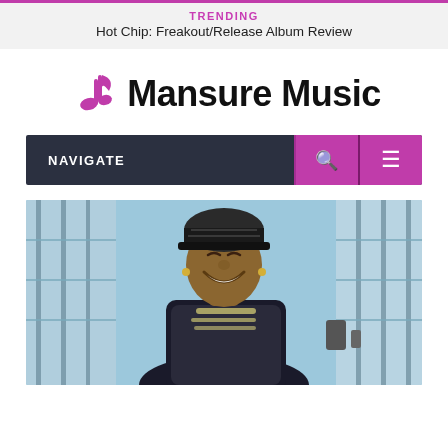TRENDING
Hot Chip: Freakout/Release Album Review
Mansure Music
NAVIGATE
[Figure (photo): A smiling man wearing a bedazzled jacket and bandana/cap, laughing outdoors near what appears to be an outdoor venue with glass panels and stage rigging in the background.]